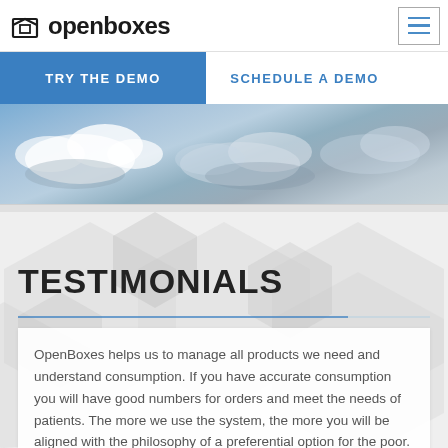openboxes
[Figure (screenshot): Two call-to-action buttons: 'TRY THE DEMO' (blue) and 'SCHEDULE A DEMO' (white with blue text)]
[Figure (photo): Sky with clouds background image]
TESTIMONIALS
OpenBoxes helps us to manage all products we need and understand consumption. If you have accurate consumption you will have good numbers for orders and meet the needs of patients. The more we use the system, the more you will be aligned with the philosophy of a preferential option for the poor.